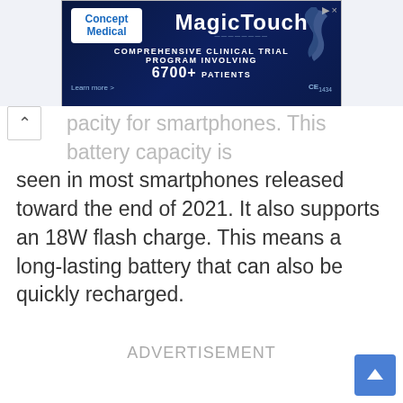[Figure (screenshot): MagicTouch advertisement banner by Concept Medical. Dark blue background with 'MagicTouch' title, subtitle 'COMPREHENSIVE CLINICAL TRIAL PROGRAM INVOLVING 6700+ PATIENTS', CE1434 marking, and a Learn more link.]
pacity for smartphones. This battery capacity is seen in most smartphones released toward the end of 2021. It also supports an 18W flash charge. This means a long-lasting battery that can also be quickly recharged.
ADVERTISEMENT